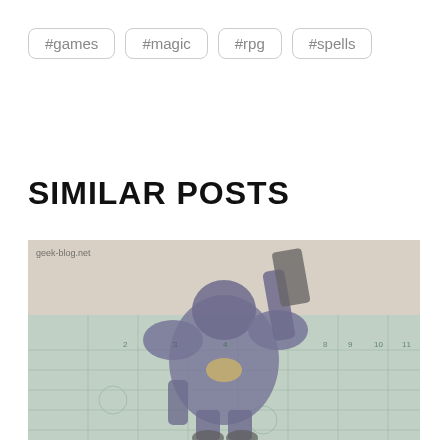#games
#magic
#rpg
#spells
SIMILAR POSTS
[Figure (photo): A painted Warhammer Space Marine miniature in dark blue/purple armor with gold chest eagle insignia, holding a weapon raised, standing on a green cutting mat with ruler markings. Watermark reads 'geek-blog.net'.]